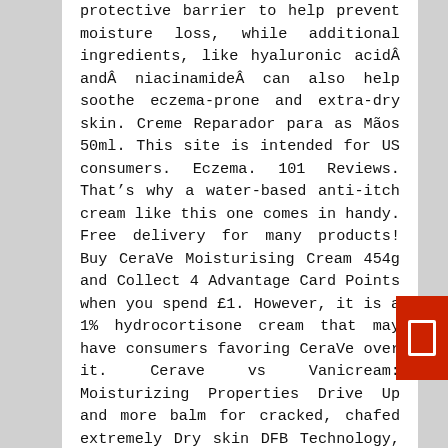protective barrier to help prevent moisture loss, while additional ingredients, like hyaluronic acidÂ andÂ niacinamideÂ can also help soothe eczema-prone and extra-dry skin. Creme Reparador para as Mãos 50ml. This site is intended for US consumers. Eczema. 101 Reviews. That’s why a water-based anti-itch cream like this one comes in handy. Free delivery for many products! Buy CeraVe Moisturising Cream 454g and Collect 4 Advantage Card Points when you spend £1. However, it is a 1% hydrocortisone cream that may have consumers favoring CeraVe over it. Cerave vs Vanicream: Moisturizing Properties Drive Up and more balm for cracked, chafed extremely Dry skin DFB Technology, Patente! They prefer CeraVe because they can use it